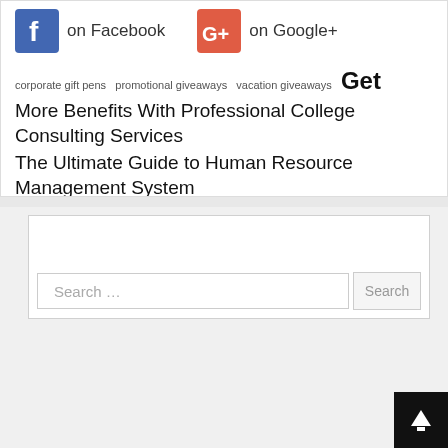[Figure (logo): Facebook logo icon (blue f)]
on Facebook
[Figure (logo): Google+ logo icon (red G+)]
on Google+
corporate gift pens promotional giveaways vacation giveaways
Get More Benefits With Professional College Consulting Services
The Ultimate Guide to Human Resource Management System
Search …
Categories
Business and Management
Default
Education